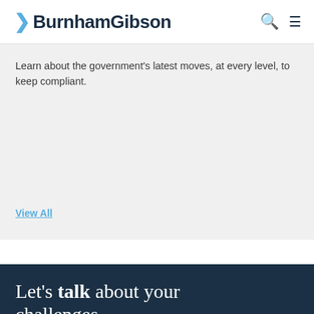BurnhamGibson
Learn about the government's latest moves, at every level, to keep compliant.
View All
Let's talk about your challenges.
We're ready when you are. Get in touch and a friendly Burnham